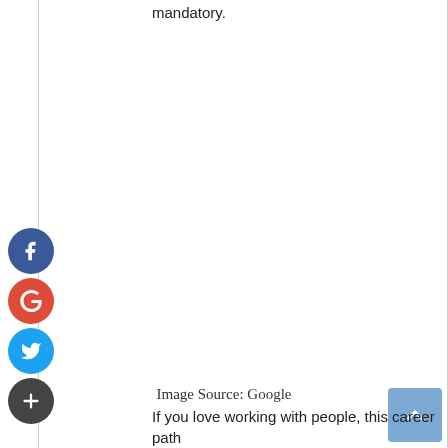mandatory.
[Figure (other): Social media share icons: Facebook (blue circle), Google+ (red circle), Twitter (blue circle), Plus/Add (dark circle) arranged vertically on the left side]
Image Source: Google
If you love working with people, this career path